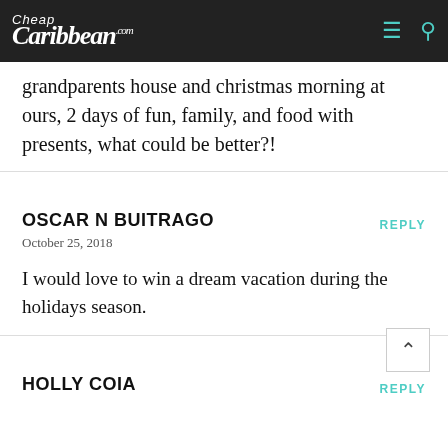Cheap Caribbean .com
grandparents house and christmas morning at ours, 2 days of fun, family, and food with presents, what could be better?!
REPLY
OSCAR N BUITRAGO
October 25, 2018
I would love to win a dream vacation during the holidays season.
REPLY
HOLLY COIA